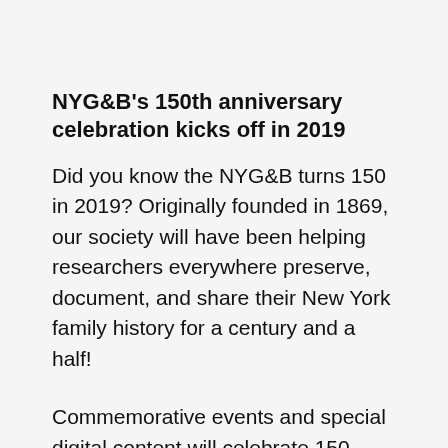NYG&B's 150th anniversary celebration kicks off in 2019
Did you know the NYG&B turns 150 in 2019? Originally founded in 1869, our society will have been helping researchers everywhere preserve, document, and share their New York family history for a century and a half!
Commemorative events and special digital content will celebrate 150 years of New York genealogy by